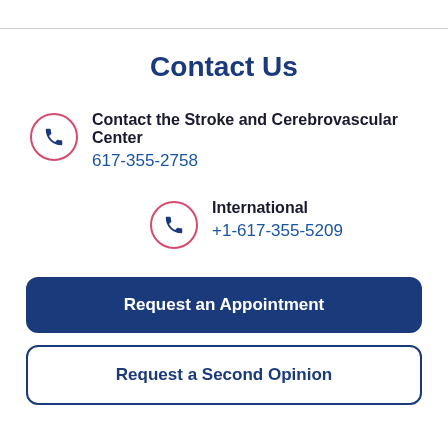Contact Us
Contact the Stroke and Cerebrovascular Center
617-355-2758
International
+1-617-355-5209
Request an Appointment
Request a Second Opinion